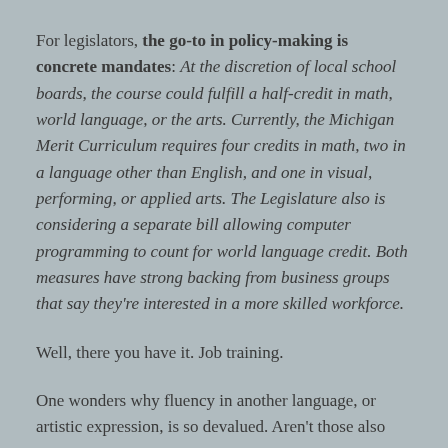For legislators, the go-to in policy-making is concrete mandates: At the discretion of local school boards, the course could fulfill a half-credit in math, world language, or the arts. Currently, the Michigan Merit Curriculum requires four credits in math, two in a language other than English, and one in visual, performing, or applied arts. The Legislature also is considering a separate bill allowing computer programming to count for world language credit. Both measures have strong backing from business groups that say they're interested in a more skilled workforce.
Well, there you have it. Job training.
One wonders why fluency in another language, or artistic expression, is so devalued. Aren't those also